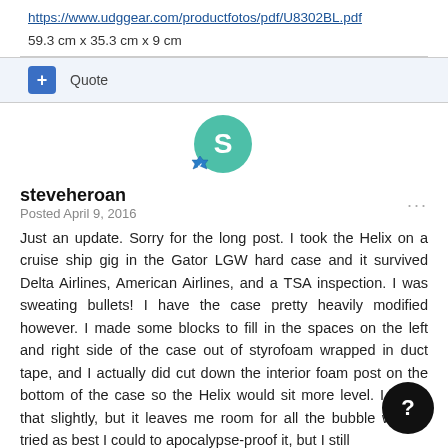https://www.udggear.com/productfotos/pdf/U8302BL.pdf
59.3 cm x 35.3 cm x 9 cm
+ Quote
[Figure (illustration): User avatar circle with letter S in teal/green color, with a blue badge/shield icon in the lower left]
steveheroan
Posted April 9, 2016
Just an update. Sorry for the long post. I took the Helix on a cruise ship gig in the Gator LGW hard case and it survived Delta Airlines, American Airlines, and a TSA inspection. I was sweating bullets! I have the case pretty heavily modified however. I made some blocks to fill in the spaces on the left and right side of the case out of styrofoam wrapped in duct tape, and I actually did cut down the interior foam post on the bottom of the case so the Helix would sit more level. I regret that slightly, but it leaves me room for all the bubble wrap. I tried as best I could to apocalypse-proof it, but I still